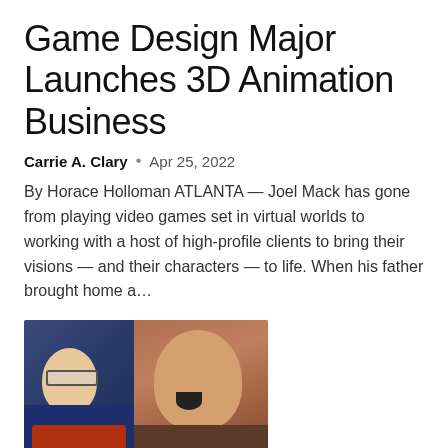Game Design Major Launches 3D Animation Business
Carrie A. Clary  •  Apr 25, 2022
By Horace Holloman ATLANTA — Joel Mack has gone from playing video games set in virtual worlds to working with a host of high-profile clients to bring their visions — and their characters — to life. When his father brought home a...
[Figure (photo): Two people: a man with glasses in a blue jacket on the left, and a person with mouth open (3D character or person) on the right]
Malaysia's MDEC and Larian